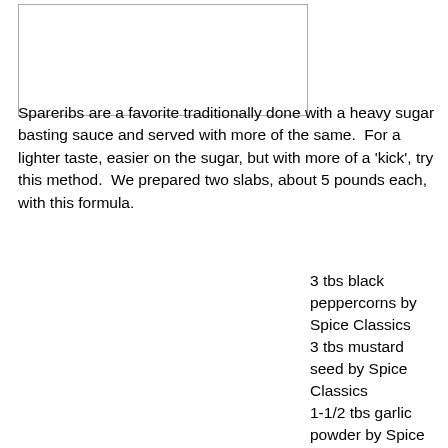[Figure (other): Empty white rectangle with border, likely a placeholder for an image of spareribs.]
Spareribs are a favorite traditionally done with a heavy sugar basting sauce and served with more of the same.  For a lighter taste, easier on the sugar, but with more of a 'kick', try this method.  We prepared two slabs, about 5 pounds each, with this formula.
3 tbs black peppercorns by Spice Classics
3 tbs mustard seed by Spice Classics
1-1/2 tbs garlic powder by Spice Classics
1-1/2 tbs chili powder by Spice Classics
1-1/2 tbs salt